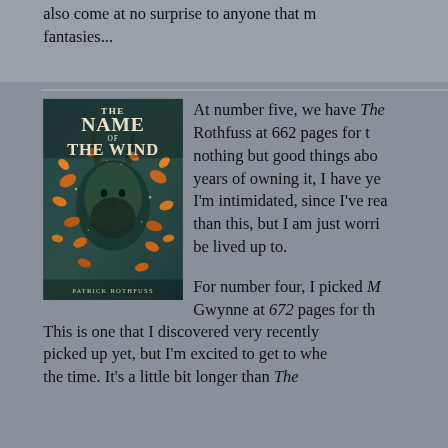also come at no surprise to anyone that my favorite genres are fantasies...
[Figure (photo): Book cover of 'The Name of the Wind' by Patrick Rothfuss, featuring a dark fantasy illustration with a creature surrounded by autumn leaves]
At number five, we have The [Name of the Wind by Patrick] Rothfuss at 662 pages for [the hardback]. I've heard nothing but good things about [this book]. After two years of owning it, I have ye[t to read it]. I'm intimidated, since I've rea[d books longer] than this, but I am just worri[ed it won't] be lived up to.
For number four, I picked M[alazan Book of the Fallen by] Gwynne at 672 pages for th[e hardback]. This is one that I discovered very recently [and haven't] picked up yet, but I'm excited to get to whe[n I find] the time. It's a little bit longer than The [Name of the Wind...]